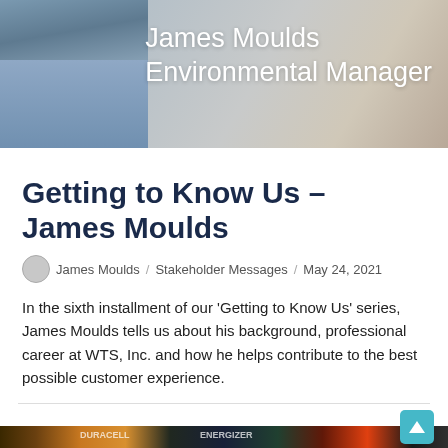[Figure (photo): Hero banner photo of James Moulds, Environmental Manager. A man in a light blue shirt is visible on the left side. White text overlay on the right reads 'James Moulds' and 'Environmental Manager'.]
Getting to Know Us – James Moulds
James Moulds / Stakeholder Messages / May 24, 2021
In the sixth installment of our 'Getting to Know Us' series, James Moulds tells us about his background, professional career at WTS, Inc. and how he helps contribute to the best possible customer experience.
[Figure (photo): Partial image of a pile of colorful batteries visible at the bottom of the page.]